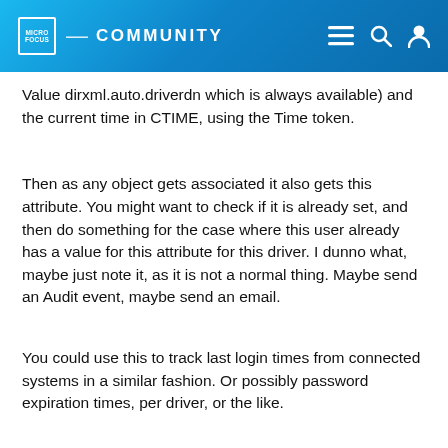MICRO FOCUS — COMMUNITY
Value dirxml.auto.driverdn which is always available) and the current time in CTIME, using the Time token.
Then as any object gets associated it also gets this attribute. You might want to check if it is already set, and then do something for the case where this user already has a value for this attribute for this driver. I dunno what, maybe just note it, as it is not a normal thing. Maybe send an Audit event, maybe send an email.
You could use this to track last login times from connected systems in a similar fashion. Or possibly password expiration times, per driver, or the like.